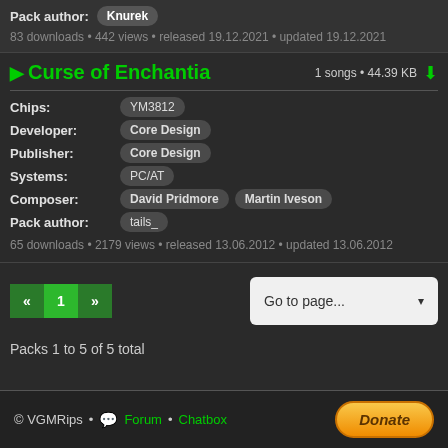Pack author: Knurek
83 downloads • 442 views • released 19.12.2021 • updated 19.12.2021
Curse of Enchantia — 1 songs • 44.39 KB
Chips: YM3812
Developer: Core Design
Publisher: Core Design
Systems: PC/AT
Composer: David Pridmore  Martin Iveson
Pack author: tails_
65 downloads • 2179 views • released 13.06.2012 • updated 13.06.2012
« 1 »  Go to page...
Packs 1 to 5 of 5 total
© VGMRips • Forum • Chatbox  Donate